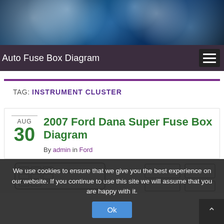[Figure (photo): Bokeh blue lights background banner]
Auto Fuse Box Diagram
TAG: INSTRUMENT CLUSTER
2007 Ford Dana Super Fuse Box Diagram
By admin in Ford
[Figure (engineering-diagram): Partial fuse box diagram image at bottom]
We use cookies to ensure that we give you the best experience on our website. If you continue to use this site we will assume that you are happy with it.